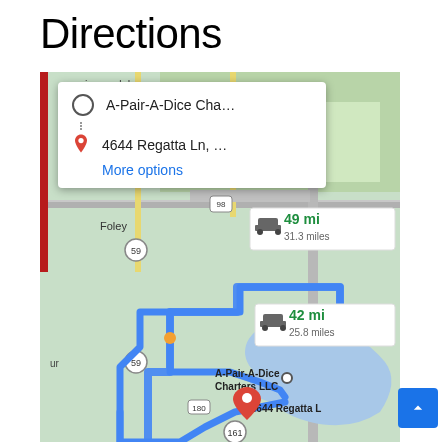Directions
[Figure (map): Google Maps screenshot showing driving directions from A-Pair-A-Dice Charters LLC to 4644 Regatta Ln. Two route options shown: 49 min / 31.3 miles and 42 min / 25.8 miles. Map shows Foley area in Alabama with roads 59, 98, 180, 161. Blue highlighted route goes south through Foley area. Popup panel shows origin 'A-Pair-A-Dice Cha...' and destination '4644 Regatta Ln, ...' with 'More options' link.]